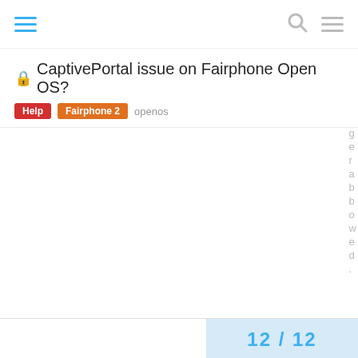navigation bar with hamburger menu, search icon, and menu icon
🔒 CaptivePortal issue on Fairphone Open OS?
Help  Fairphone 2  openos
12 / 12
↩ Reply
Suggested Topics